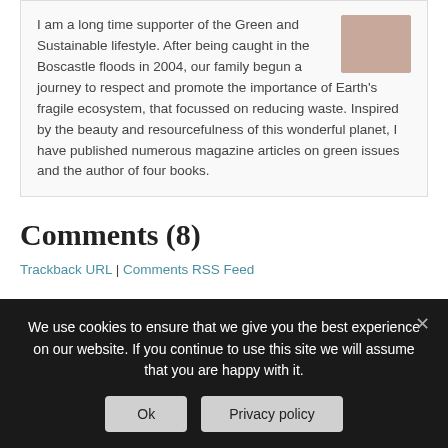I am a long time supporter of the Green and Sustainable lifestyle. After being caught in the Boscastle floods in 2004, our family begun a journey to respect and promote the importance of Earth's fragile ecosystem, that focussed on reducing waste. Inspired by the beauty and resourcefulness of this wonderful planet, I have published numerous magazine articles on green issues and the author of four books.
[Figure (photo): Author profile photo - woman's face]
Comments (8)
Trackback URL | Comments RSS Feed
Karin says: September 10, 2010 at 9:28 am
[Figure (photo): Karin commenter profile photo - woman with glasses]
We use cookies to ensure that we give you the best experience on our website. If you continue to use this site we will assume that you are happy with it.